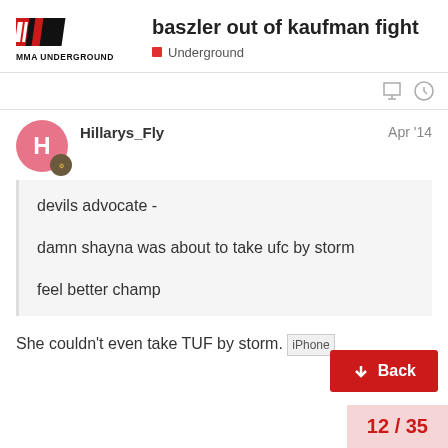baszler out of kaufman fight — Underground
Hillarys_Fly — Apr '14
devils advocate -

damn shayna was about to take ufc by storm


feel better champ
She couldn't even take TUF by storm.
12 / 35